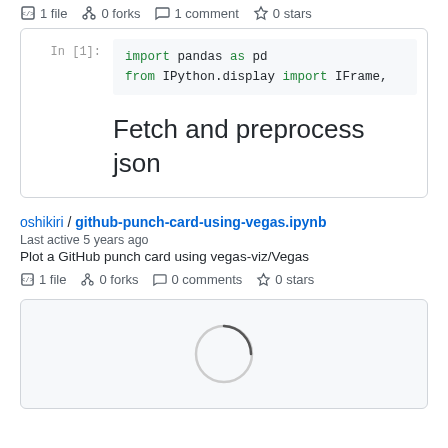1 file  0 forks  1 comment  0 stars
[Figure (screenshot): Jupyter notebook cell showing: In [1]: import pandas as pd / from IPython.display import IFrame,]
Fetch and preprocess json
oshikiri / github-punch-card-using-vegas.ipynb
Last active 5 years ago
Plot a GitHub punch card using vegas-viz/Vegas
1 file  0 forks  0 comments  0 stars
[Figure (screenshot): Loading spinner circle in a light gray box]